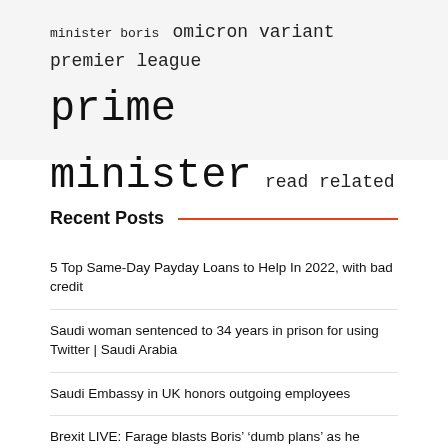minister boris  omicron variant  premier league  prime minister  read related  related articles  united states
Recent Posts
5 Top Same-Day Payday Loans to Help In 2022, with bad credit
Saudi woman sentenced to 34 years in prison for using Twitter | Saudi Arabia
Saudi Embassy in UK honors outgoing employees
Brexit LIVE: Farage blasts Boris’ ‘dumb plans’ as he hands Sunak and Truss lifeline | Politics | New
It’s time to celebrate Erie! | KID Erie Macaroni